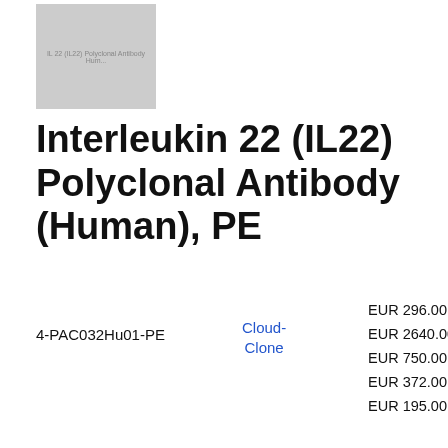[Figure (photo): Product image placeholder showing text 'IL 22 (IL22) Polyclonal Antibody Human' on grey background]
Interleukin 22 (IL22) Polyclonal Antibody (Human), PE
4-PAC032Hu01-PE
Cloud-Clone
EUR 296.00
EUR 2640.00
EUR 750.00
EUR 372.00
EUR 195.00
100ul
10ml
20ul